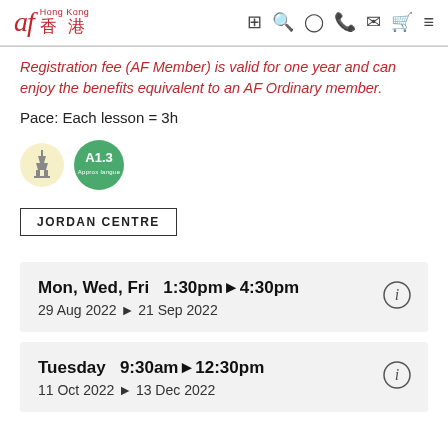af Hong Kong 香港
Registration fee (AF Member) is valid for one year and can enjoy the benefits equivalent to an AF Ordinary member.
Pace: Each lesson = 3h
[Figure (logo): Eiffel tower badge and A1.3 level badge]
JORDAN CENTRE
Mon, Wed, Fri  1:30pm▶4:30pm
29 Aug 2022 ▶ 21 Sep 2022
Tuesday  9:30am▶12:30pm
11 Oct 2022 ▶ 13 Dec 2022